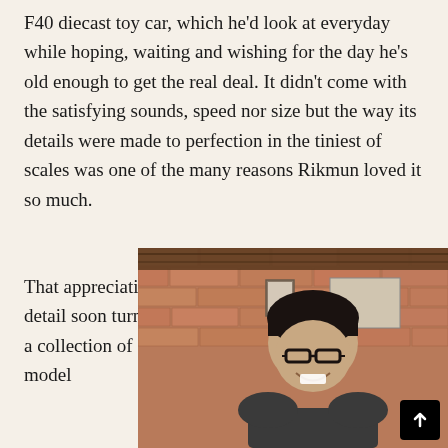F40 diecast toy car, which he'd look at everyday while hoping, waiting and wishing for the day he's old enough to get the real deal. It didn't come with the satisfying sounds, speed nor size but the way its details were made to perfection in the tiniest of scales was one of the many reasons Rikmun loved it so much.
That appreciation for detail soon turned into a collection of said model
[Figure (photo): Photo of a young Asian man smiling, wearing glasses and a dark shirt, seated in front of a brick wall with framed items on the wall behind him.]